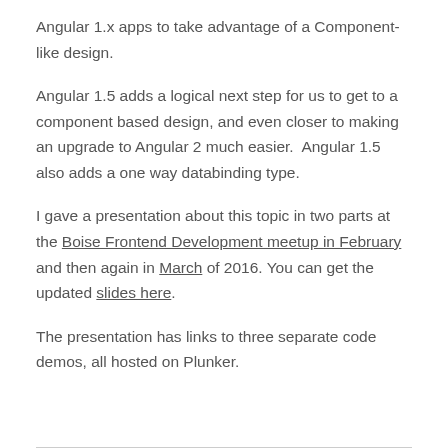Angular 1.x apps to take advantage of a Component-like design.
Angular 1.5 adds a logical next step for us to get to a component based design, and even closer to making an upgrade to Angular 2 much easier.  Angular 1.5 also adds a one way databinding type.
I gave a presentation about this topic in two parts at the Boise Frontend Development meetup in February and then again in March of 2016. You can get the updated slides here.
The presentation has links to three separate code demos, all hosted on Plunker.